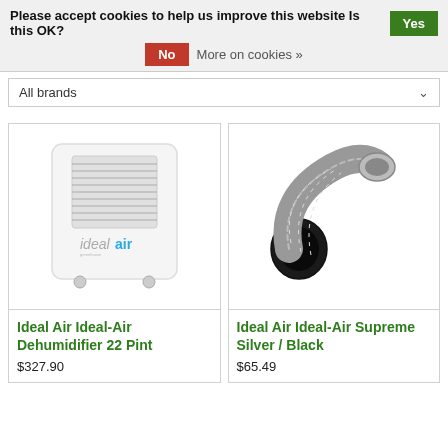Please accept cookies to help us improve this website Is this OK?  Yes  No  More on cookies »
All brands
[Figure (photo): White dehumidifier appliance with front grille vents and Ideal Air logo, on small wheels]
Ideal Air Ideal-Air Dehumidifier 22 Pint
$327.90
[Figure (photo): Flexible silver and black metallic ductwork hose, coiled and bent]
Ideal Air Ideal-Air Supreme Silver / Black
$65.49